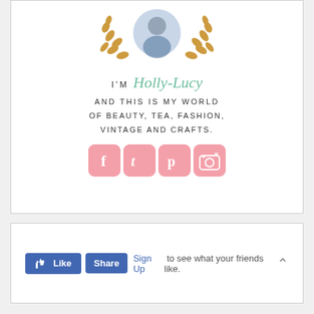[Figure (illustration): Blog profile card showing a circular portrait photo framed by golden laurel leaves, with text 'I'M Holly-Lucy AND THIS IS MY WORLD OF BEAUTY, TEA, FASHION, VINTAGE AND CRAFTS.' and pink social media icons for Facebook, Twitter, Pinterest, and Instagram below.]
[Figure (screenshot): Facebook Like and Share widget box with a blue Like button (thumbs up icon), a blue Share button, a 'Sign Up' link in blue, and the text 'to see what your friends like.' followed by an up-arrow chevron on the right.]